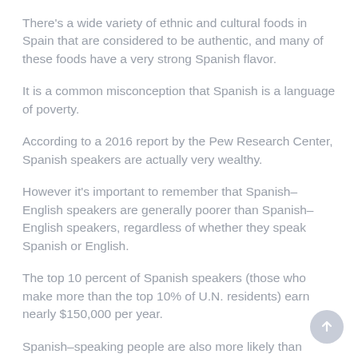There's a wide variety of ethnic and cultural foods in Spain that are considered to be authentic, and many of these foods have a very strong Spanish flavor.
It is a common misconception that Spanish is a language of poverty.
According to a 2016 report by the Pew Research Center, Spanish speakers are actually very wealthy.
However it's important to remember that Spanish–English speakers are generally poorer than Spanish–English speakers, regardless of whether they speak Spanish or English.
The top 10 percent of Spanish speakers (those who make more than the top 10% of U.N. residents) earn nearly $150,000 per year.
Spanish–speaking people are also more likely than English–language speakers to have a college